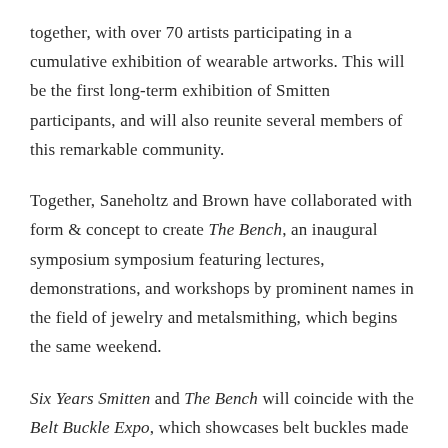together, with over 70 artists participating in a cumulative exhibition of wearable artworks. This will be the first long-term exhibition of Smitten participants, and will also reunite several members of this remarkable community.
Together, Saneholtz and Brown have collaborated with form & concept to create The Bench, an inaugural symposium symposium featuring lectures, demonstrations, and workshops by prominent names in the field of jewelry and metalsmithing, which begins the same weekend.
Six Years Smitten and The Bench will coincide with the Belt Buckle Expo, which showcases belt buckles made with a diverse array of materials.